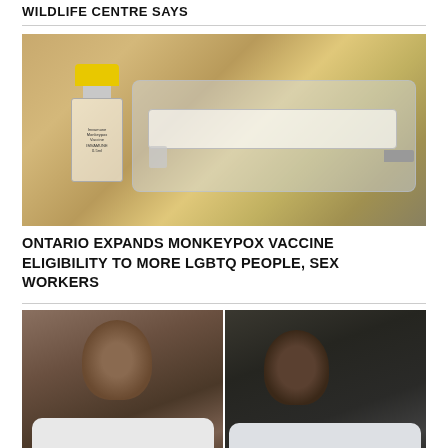WILDLIFE CENTRE SAYS
[Figure (photo): A vaccine vial with yellow cap and a syringe in a plastic tray on a tan/golden surface]
ONTARIO EXPANDS MONKEYPOX VACCINE ELIGIBILITY TO MORE LGBTQ PEOPLE, SEX WORKERS
[Figure (photo): Side-by-side photos of two men, appearing to be surveillance or security camera footage]